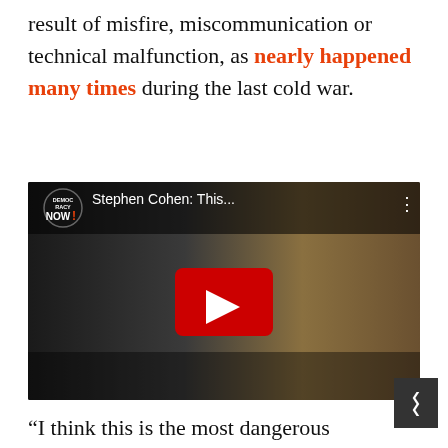result of misfire, miscommunication or technical malfunction, as nearly happened many times during the last cold war.
[Figure (screenshot): YouTube video thumbnail showing two figures (Putin and Trump at podiums) with Democracy Now logo and title 'Stephen Cohen: This...' and a red play button in the center]
“I think this is the most dangerous moment in American-Russian relations, at least since the Cuban missile crisis,” Cohen told Democracy Now in 2017. “And arguably, it’s more dangerous, because it’s more complex. Therefore, we—and then